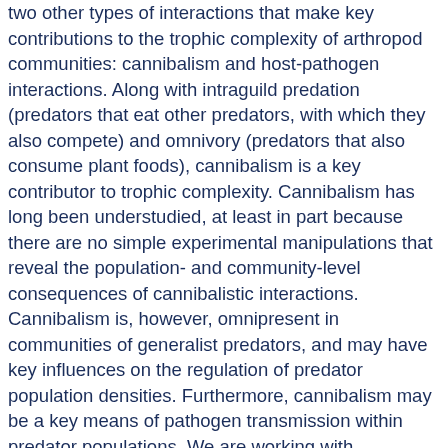two other types of interactions that make key contributions to the trophic complexity of arthropod communities: cannibalism and host-pathogen interactions. Along with intraguild predation (predators that eat other predators, with which they also compete) and omnivory (predators that also consume plant foods), cannibalism is a key contributor to trophic complexity. Cannibalism has long been understudied, at least in part because there are no simple experimental manipulations that reveal the population- and community-level consequences of cannibalistic interactions. Cannibalism is, however, omnipresent in communities of generalist predators, and may have key influences on the regulation of predator population densities. Furthermore, cannibalism may be a key means of pathogen transmission within predator populations. We are working with populations of the predatory insect, Geocoris pallens, which can be highly cannibalistic, and in which the expression of cannibalism is highly plastic. Geocoris also appears to be infected with a pathogen (apparently an RNA virus; work is ongoing to characterize